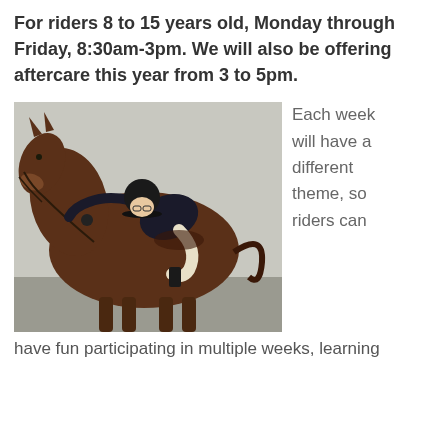For riders 8 to 15 years old, Monday through Friday, 8:30am-3pm. We will also be offering aftercare this year from 3 to 5pm.
[Figure (photo): A young rider in equestrian gear leaning forward hugging the neck of a large brown horse, photographed outdoors.]
Each week will have a different theme, so riders can have fun participating in multiple weeks, learning